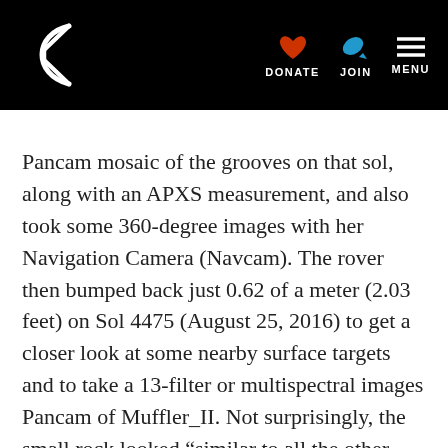Planetary Society logo, DONATE, JOIN, MENU
Pancam mosaic of the grooves on that sol, along with an APXS measurement, and also took some 360-degree images with her Navigation Camera (Navcam). The rover then bumped back just 0.62 of a meter (2.03 feet) on Sol 4475 (August 25, 2016) to get a closer look at some nearby surface targets and to take a 13-filter or multispectral images Pancam of Muffler_II. Not surprisingly, the small rock looked “similar to all the other rocks in Marathon Valley,” said Arvidson.